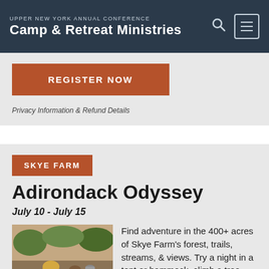UPPER NEW YORK ANNUAL CONFERENCE Camp & Retreat Ministries
REGISTER NOW
Privacy Information & Refund Details
SKYE FARM
Adirondack Odyssey
July 10 - July 15
[Figure (photo): Two people relaxing in a hammock outdoors at Skye Farm]
Find adventure in the 400+ acres of Skye Farm's forest, trails, streams, & views. Try a night in a tent or hammock, climb a tree, learn